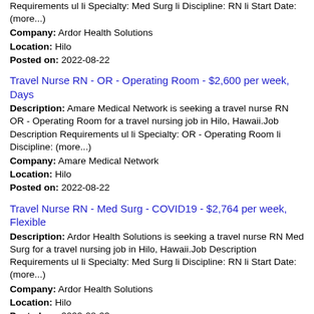Requirements ul li Specialty: Med Surg li Discipline: RN li Start Date: (more...)
Company: Ardor Health Solutions
Location: Hilo
Posted on: 2022-08-22
Travel Nurse RN - OR - Operating Room - $2,600 per week, Days
Description: Amare Medical Network is seeking a travel nurse RN OR - Operating Room for a travel nursing job in Hilo, Hawaii.Job Description Requirements ul li Specialty: OR - Operating Room li Discipline: (more...)
Company: Amare Medical Network
Location: Hilo
Posted on: 2022-08-22
Travel Nurse RN - Med Surg - COVID19 - $2,764 per week, Flexible
Description: Ardor Health Solutions is seeking a travel nurse RN Med Surg for a travel nursing job in Hilo, Hawaii.Job Description Requirements ul li Specialty: Med Surg li Discipline: RN li Start Date: (more...)
Company: Ardor Health Solutions
Location: Hilo
Posted on: 2022-08-23
Travel Nurse RN - Progressive Care Unit - $2,556 per week, Days